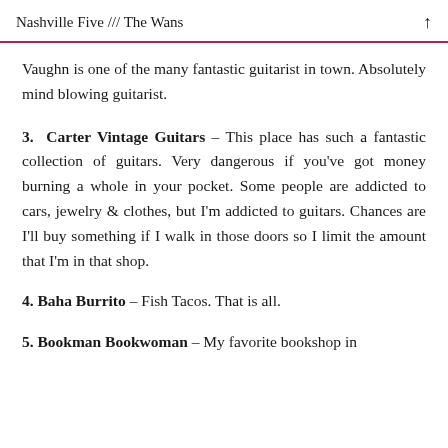Nashville Five /// The Wans
Vaughn is one of the many fantastic guitarist in town. Absolutely mind blowing guitarist.
3. Carter Vintage Guitars – This place has such a fantastic collection of guitars. Very dangerous if you've got money burning a whole in your pocket. Some people are addicted to cars, jewelry & clothes, but I'm addicted to guitars. Chances are I'll buy something if I walk in those doors so I limit the amount that I'm in that shop.
4. Baha Burrito – Fish Tacos. That is all.
5. Bookman Bookwoman – My favorite bookshop in